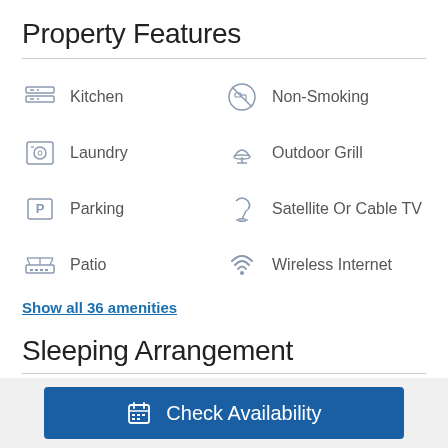Property Features
Kitchen
Non-Smoking
Laundry
Outdoor Grill
Parking
Satellite Or Cable TV
Patio
Wireless Internet
Show all 36 amenities
Sleeping Arrangement
Check Availability